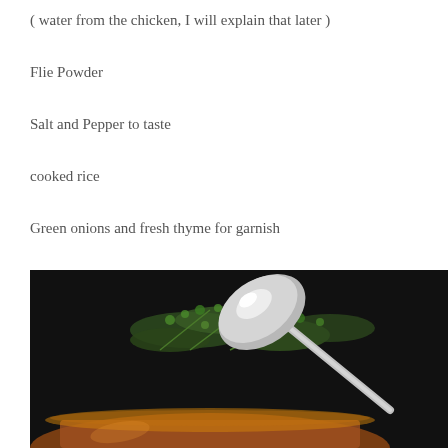( water from the chicken, I will explain that later )
Flie Powder
Salt and Pepper to taste
cooked rice
Green onions and fresh thyme for garnish
[Figure (photo): Dark background photo showing a silver spoon held above a bowl of soup/stew, with fresh thyme sprigs in the background]